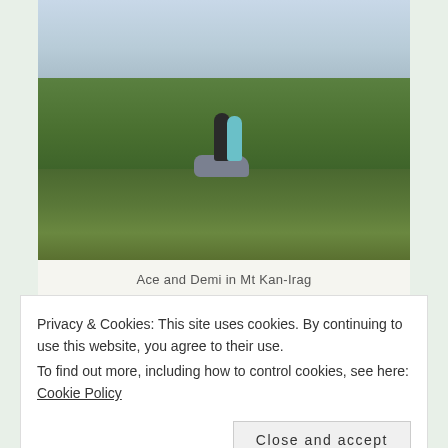[Figure (photo): Two people standing on a rock overlooking a green forested landscape with mountains and cloudy sky, at Mt Kan-Irag]
Ace and Demi in Mt Kan-Irag
Privacy & Cookies: This site uses cookies. By continuing to use this website, you agree to their use.
To find out more, including how to control cookies, see here: Cookie Policy
Close and accept